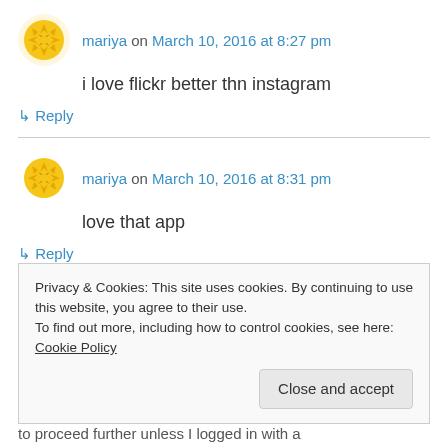[Figure (illustration): Yellow avatar icon with geometric pattern]
mariya on March 10, 2016 at 8:27 pm
i love flickr better thn instagram
↳ Reply
[Figure (illustration): Yellow avatar icon with geometric pattern]
mariya on March 10, 2016 at 8:31 pm
love that app
↳ Reply
Privacy & Cookies: This site uses cookies. By continuing to use this website, you agree to their use.
To find out more, including how to control cookies, see here: Cookie Policy
Close and accept
to proceed further unless I logged in with a